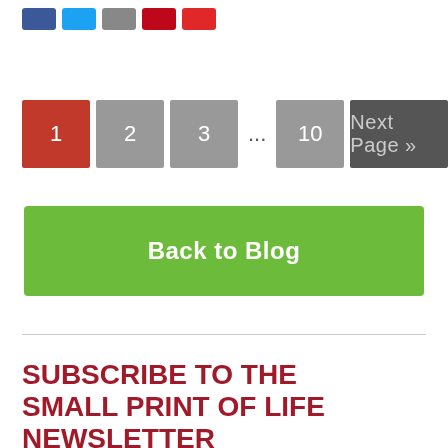[Figure (other): Social share icons: Facebook (blue), Twitter (light blue), Email (grey), Pinterest (red), Flipboard (red-orange)]
1 (current page, active)
2
3
... 10
Next Page »
Back to Blog
SUBSCRIBE TO THE SMALL PRINT OF LIFE NEWSLETTER
A free monthly